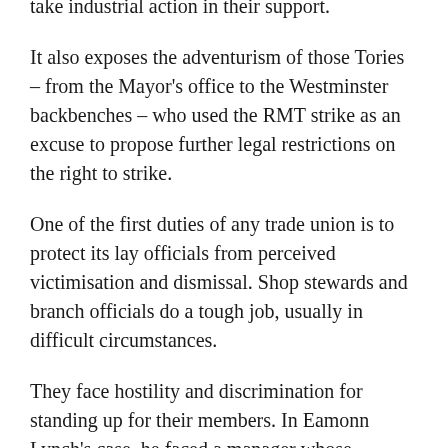take industrial action in their support.
It also exposes the adventurism of those Tories – from the Mayor's office to the Westminster backbenches – who used the RMT strike as an excuse to propose further legal restrictions on the right to strike.
One of the first duties of any trade union is to protect its lay officials from perceived victimisation and dismissal. Shop stewards and branch officials do a tough job, usually in difficult circumstances.
They face hostility and discrimination for standing up for their members. In Eamonn Lynch's case, he faced a manager whose